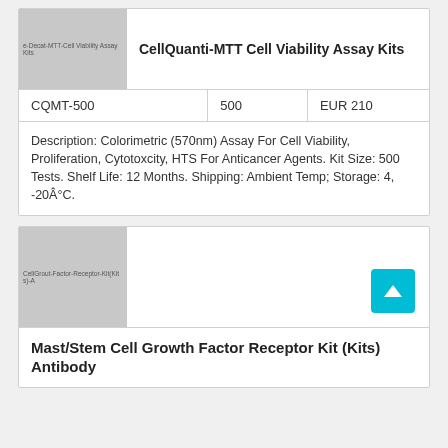[Figure (photo): Product image placeholder for CellQuanti-MTT Cell Viability Assay Kits, gray rectangle with label text]
CellQuanti-MTT Cell Viability Assay Kits
| CQMT-500 | 500 | EUR 210 |
| --- | --- | --- |
Description: Colorimetric (570nm) Assay For Cell Viability, Proliferation, Cytotoxcity, HTS For Anticancer Agents. Kit Size: 500 Tests. Shelf Life: 12 Months. Shipping: Ambient Temp; Storage: 4, -20Â°C.
[Figure (photo): Product image placeholder for Mast/Stem Cell Growth Factor Receptor Kit (Kits) Antibody, gray rectangle with label text]
Mast/Stem Cell Growth Factor Receptor Kit (Kits) Antibody